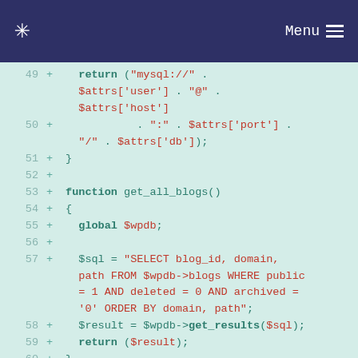* Menu
[Figure (screenshot): Code diff viewer showing PHP code lines 49-61 with line numbers, plus signs, and syntax-highlighted code on a mint green background. Lines show a function returning a MySQL DSN string, and a get_all_blogs() function with a SQL SELECT query.]